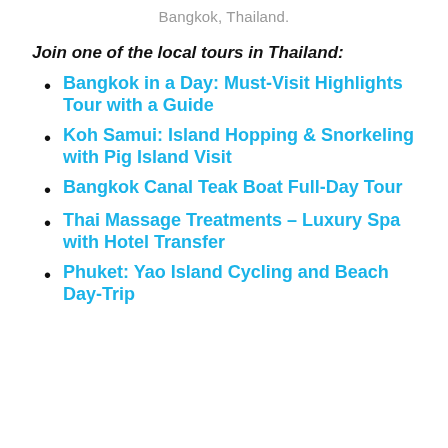Bangkok, Thailand.
Join one of the local tours in Thailand:
Bangkok in a Day: Must-Visit Highlights Tour with a Guide
Koh Samui: Island Hopping & Snorkeling with Pig Island Visit
Bangkok Canal Teak Boat Full-Day Tour
Thai Massage Treatments – Luxury Spa with Hotel Transfer
Phuket: Yao Island Cycling and Beach Day-Trip